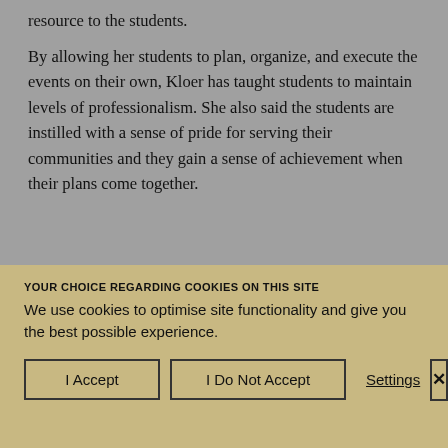resource to the students.

By allowing her students to plan, organize, and execute the events on their own, Kloer has taught students to maintain levels of professionalism. She also said the students are instilled with a sense of pride for serving their communities and they gain a sense of achievement when their plans come together.
YOUR CHOICE REGARDING COOKIES ON THIS SITE
We use cookies to optimise site functionality and give you the best possible experience.
I Accept | I Do Not Accept | Settings | X